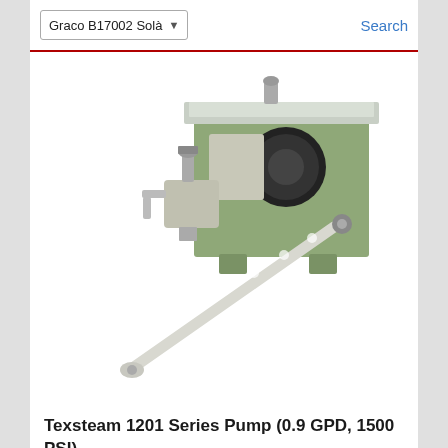Graco B17002 Sola... Search
[Figure (photo): Texsteam 1201 Series Pump - an industrial pump unit with green metal housing, a long lever arm, and a valve assembly on the side]
Texsteam 1201 Series Pump (0.9 GPD, 1500 PSI)
From $ 959.00
[Figure (photo): Partial view of a second product - appears to be a flat metal plate/base component, shown at bottom of page]